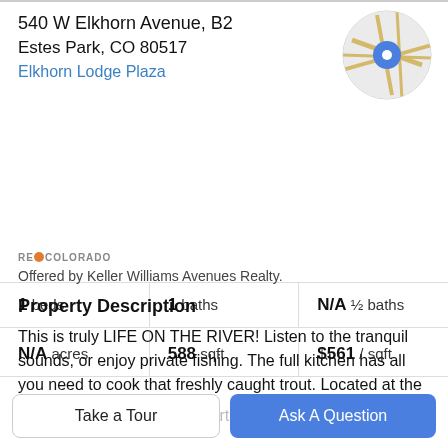540 W Elkhorn Avenue, B2
Estes Park, CO 80517
Elkhorn Lodge Plaza
[Figure (map): Circular map thumbnail with a blue location pin marker in the center, showing road intersections on a light gray/beige background.]
| 1 beds | 1 baths | N/A ½ baths |
| N/A acres | 588 sqft | $561 / sqft |
[Figure (logo): RE/Colorado logo with orange flame icon]
Offered by Keller Williams Avenues Realty.
Property Description
This is truly LIFE ON THE RIVER! Listen to the tranquil sounds, or enjoy private fishing. The full kitchen has all you need to cook that freshly caught trout. Located at the
top of the town it's just a short distance to great
Take a Tour
Ask A Question